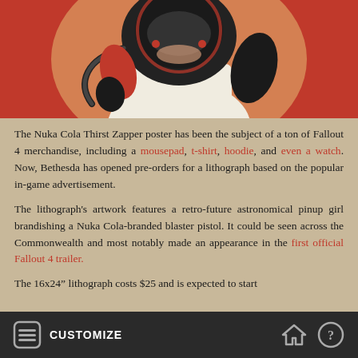[Figure (illustration): Retro-futuristic pinup girl illustration from Fallout 4 Nuka Cola Thirst Zapper poster, showing a woman in white shirt with a cyberpunk helmet and black gloves against a red background]
The Nuka Cola Thirst Zapper poster has been the subject of a ton of Fallout 4 merchandise, including a mousepad, t-shirt, hoodie, and even a watch. Now, Bethesda has opened pre-orders for a lithograph based on the popular in-game advertisement.
The lithograph's artwork features a retro-future astronomical pinup girl brandishing a Nuka Cola-branded blaster pistol. It could be seen across the Commonwealth and most notably made an appearance in the first official Fallout 4 trailer.
The 16x24” lithograph costs $25 and is expected to start
CUSTOMIZE